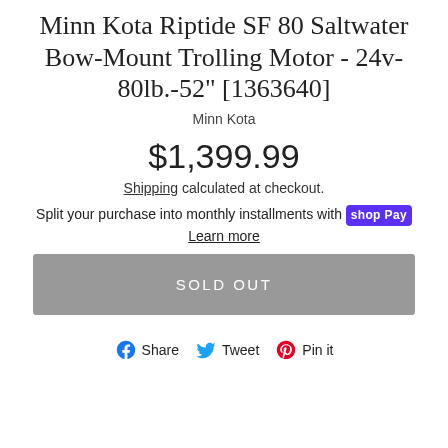Minn Kota Riptide SF 80 Saltwater Bow-Mount Trolling Motor - 24v-80lb.-52" [1363640]
Minn Kota
$1,399.99
Shipping calculated at checkout.
Split your purchase into monthly installments with shop Pay
Learn more
SOLD OUT
Share  Tweet  Pin it